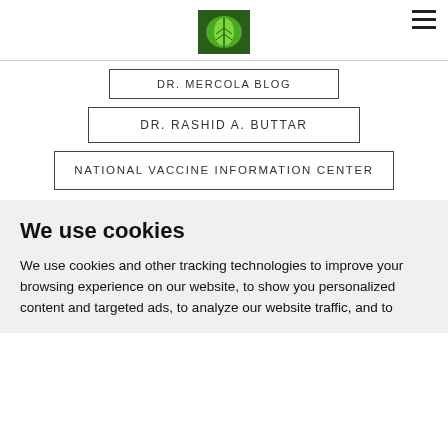[Figure (logo): Green leaf logo image for Dr. Mercola website]
DR. MERCOLA BLOG
DR. RASHID A. BUTTAR
NATIONAL VACCINE INFORMATION CENTER
We use cookies
We use cookies and other tracking technologies to improve your browsing experience on our website, to show you personalized content and targeted ads, to analyze our website traffic, and to